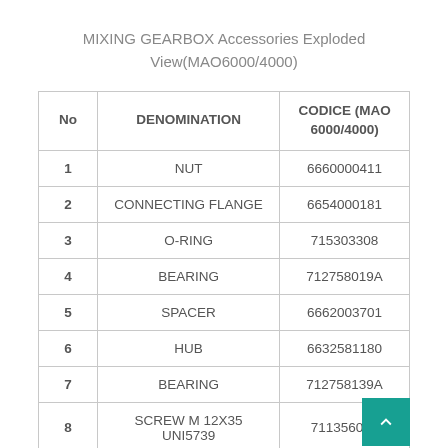MIXING GEARBOX Accessories Exploded View(MAO6000/4000)
| No | DENOMINATION | CODICE (MAO 6000/4000) |
| --- | --- | --- |
| 1 | NUT | 6660000411 |
| 2 | CONNECTING FLANGE | 6654000181 |
| 3 | O-RING | 715303308 |
| 4 | BEARING | 712758019A |
| 5 | SPACER | 6662003701 |
| 6 | HUB | 6632581180 |
| 7 | BEARING | 712758139A |
| 8 | SCREW M 12X35 UNI5739 | 711356007 |